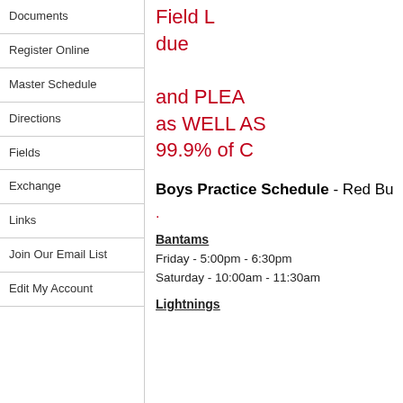Documents
Register Online
Master Schedule
Directions
Fields
Exchange
Links
Join Our Email List
Edit My Account
Field L... due... and PLEA... as WELL AS... 99.9% of C...
Boys Practice Schedule - Red Bu...
.
Bantams
Friday - 5:00pm - 6:30pm
Saturday - 10:00am - 11:30am
Lightnings